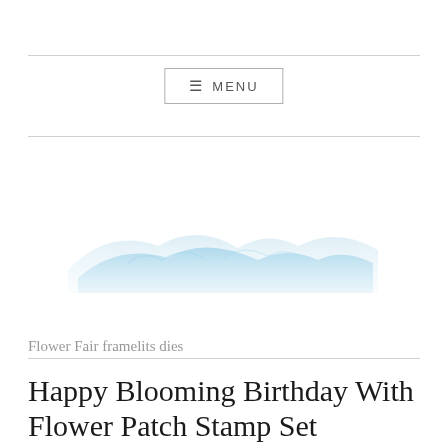☰ MENU
[Figure (illustration): Watercolor-style blue mountain silhouette landscape illustration]
Flower Fair framelits dies
Happy Blooming Birthday With Flower Patch Stamp Set